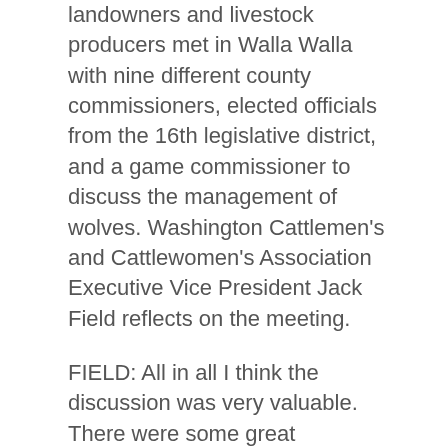landowners and livestock producers met in Walla Walla with nine different county commissioners, elected officials from the 16th legislative district, and a game commissioner to discuss the management of wolves. Washington Cattlemen's and Cattlewomen's Association Executive Vice President Jack Field reflects on the meeting.
FIELD: All in all I think the discussion was very valuable. There were some great questions that were asked. I think people left with a much stronger understanding of the process - where we are, what needs to be done in order to meet each of the bench marks on a down listing and then a delisting process. We had representation as well from the Washington Association of Counties, and the Association of Counties is going to play a vital role hopefully in the upcoming legislative session